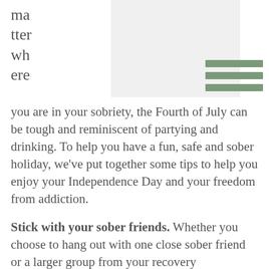ma
tter
wh
ere
you are in your sobriety, the Fourth of July can be tough and reminiscent of partying and drinking. To help you have a fun, safe and sober holiday, we’ve put together some tips to help you enjoy your Independence Day and your freedom from addiction.
Stick with your sober friends. Whether you choose to hang out with one close sober friend or a larger group from your recovery community, make this holiday about being social and sober. Start the day with a group hike or arrange a movie or bowling outing or head to your local parade. If you get stuck on ideas, just pretend that you’re kid again. Run around in the heat, have a water balloon toss